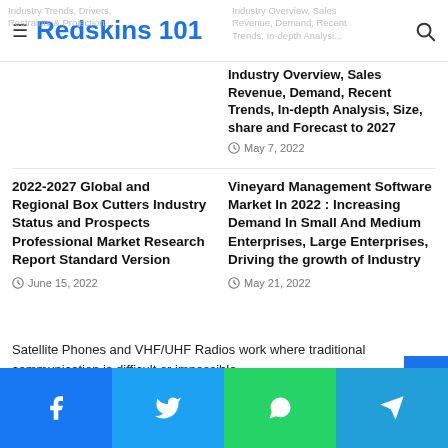Redskins 101
Industry Overview, Sales Revenue, Demand, Recent Trends, In-depth Analysis, Size, share and Forecast to 2027
May 7, 2022
2022-2027 Global and Regional Box Cutters Industry Status and Prospects Professional Market Research Report Standard Version
June 15, 2022
Vineyard Management Software Market In 2022 : Increasing Demand In Small And Medium Enterprises, Large Enterprises, Driving the growth of Industry
May 21, 2022
Satellite Phones and VHF/UHF Radios work where traditional communication is difficult or impossible.